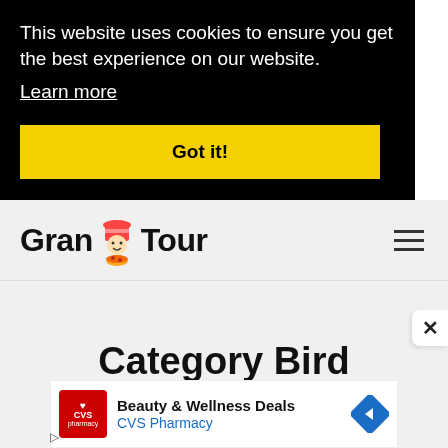This website uses cookies to ensure you get the best experience on our website.
Learn more
Got it!
[Figure (logo): Grand Tour logo with chef mascot]
Category Bird
[Figure (infographic): CVS Pharmacy ad: Beauty & Wellness Deals]